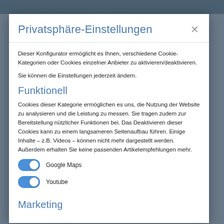Privatsphäre-Einstellungen
Dieser Konfigurator ermöglicht es Ihnen, verschiedene Cookie-Kategorien oder Cookies einzelner Anbieter zu aktivieren/deaktivieren.
Sie können die Einstellungen jederzeit ändern.
Funktionell
Cookies dieser Kategorie ermöglichen es uns, die Nutzung der Website zu analysieren und die Leistung zu messen. Sie tragen zudem zur Bereitstellung nützlicher Funktionen bei. Das Deaktivieren dieser Cookies kann zu einem langsameren Seitenaufbau führen. Einige Inhalte – z.B. Videos – können nicht mehr dargestellt werden. Außerdem erhalten Sie keine passenden Artikelempfehlungen mehr.
Google Maps (toggle: on)
Youtube (toggle: on)
Marketing